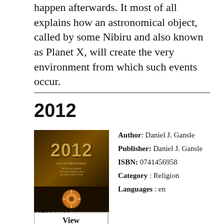happen afterwards. It most of all explains how an astronomical object, called by some Nibiru and also known as Planet X, will create the very environment from which such events occur.
2012
[Figure (photo): Book cover of '2012 Day of Reckoning' by Daniel J. Gansle, dark background with gold text and emblem]
Author: Daniel J. Gansle
Publisher: Daniel J. Gansle
ISBN: 0741456958
Category : Religion
Languages : en
Pages : 254
View